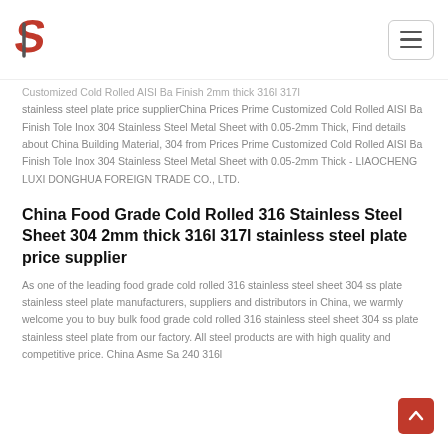Logo and navigation header
Customized Cold Rolled AISI Ba Finish 2mm thick 316l 317l stainless steel plate price supplierChina Prices Prime Customized Cold Rolled AISI Ba Finish Tole Inox 304 Stainless Steel Metal Sheet with 0.05-2mm Thick, Find details about China Building Material, 304 from Prices Prime Customized Cold Rolled AISI Ba Finish Tole Inox 304 Stainless Steel Metal Sheet with 0.05-2mm Thick - LIAOCHENG LUXI DONGHUA FOREIGN TRADE CO., LTD.
China Food Grade Cold Rolled 316 Stainless Steel Sheet 304 2mm thick 316l 317l stainless steel plate price supplier
As one of the leading food grade cold rolled 316 stainless steel sheet 304 ss plate stainless steel plate manufacturers, suppliers and distributors in China, we warmly welcome you to buy bulk food grade cold rolled 316 stainless steel sheet 304 ss plate stainless steel plate from our factory. All steel products are with high quality and competitive price. China Asme Sa 240 316l